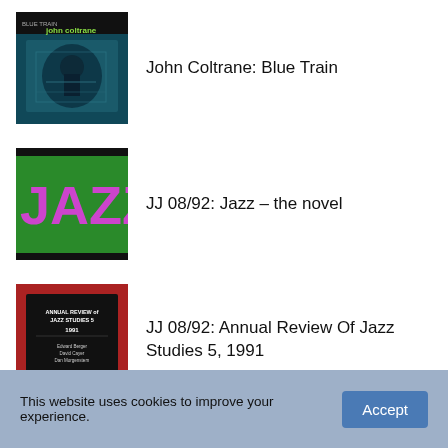John Coltrane: Blue Train
JJ 08/92: Jazz – the novel
JJ 08/92: Annual Review Of Jazz Studies 5, 1991
Robert Johnson: Cross Road Blues
This website uses cookies to improve your experience.